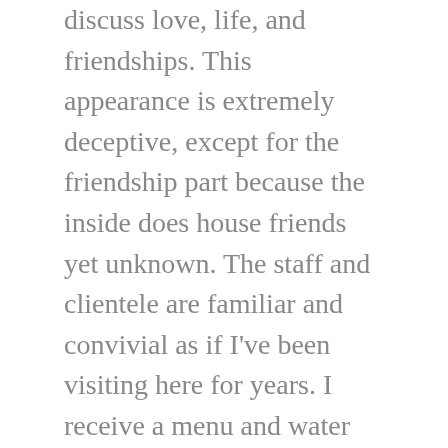discuss love, life, and friendships. This appearance is extremely deceptive, except for the friendship part because the inside does house friends yet unknown. The staff and clientele are familiar and convivial as if I've been visiting here for years. I receive a menu and water immediately. Owner and Chef, Carolina Orellana is welcoming, accepting, and all around lovely, not to mention an AMAZING culinary artist. She is excited to give recommendations and impressively as excited to TAKE recommendations. A sign that Cevicheria's menu will never be stale or stagnant.
In the Tostadas De Ceviche department I order the Pescado but am served the Camrón. This is an obvious error but somehow, in this laid back environment, feels acceptable. The mix up is